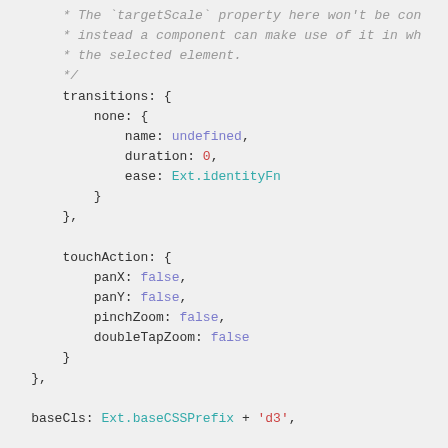* The `targetScale` property here won't be con
 * instead a component can make use of it in wh
 * the selected element.
 */
transitions: {
    none: {
        name: undefined,
        duration: 0,
        ease: Ext.identityFn
    }
},

touchAction: {
    panX: false,
    panY: false,
    pinchZoom: false,
    doubleTapZoom: false
}
},

baseCls: Ext.baseCSSPrefix + 'd3',

/*
 * @private